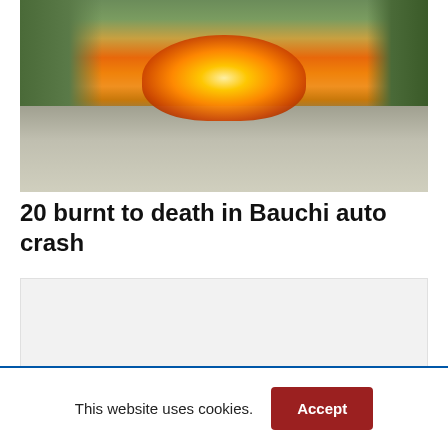[Figure (photo): A vehicle engulfed in large flames on a road, with trees visible in the background. The fire produces tall orange and red flames with smoke. The road surface is visible in the foreground.]
20 burnt to death in Bauchi auto crash
[Figure (other): Advertisement placeholder box with light gray background]
This website uses cookies.
Accept